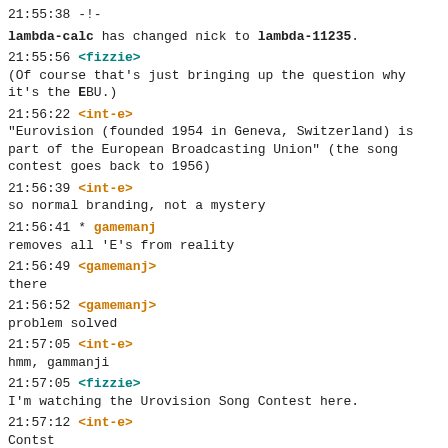21:55:38 -!-
lambda-calc has changed nick to lambda-11235.
21:55:56 <fizzie>
(Of course that's just bringing up the question why it's the EBU.)
21:56:22 <int-e>
"Eurovision (founded 1954 in Geneva, Switzerland) is part of the European Broadcasting Union" (the song contest goes back to 1956)
21:56:39 <int-e>
so normal branding, not a mystery
21:56:41 * gamemanj
removes all 'E's from reality
21:56:49 <gamemanj>
there
21:56:52 <gamemanj>
problem solved
21:57:05 <int-e>
hmm, gammanji
21:57:05 <fizzie>
I'm watching the Urovision Song Contest here.
21:57:12 <int-e>
Contst
21:57:14 <fizzie>
Sorry, yes.